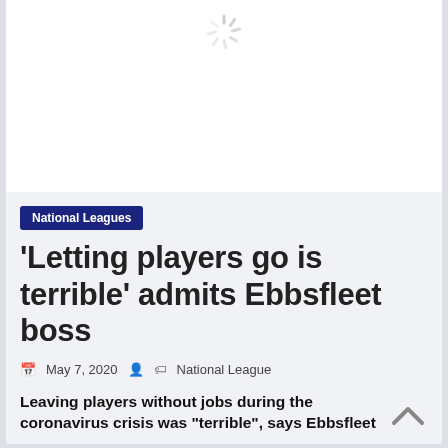[Figure (other): Loading spinner icon centered in white image placeholder box]
National Leagues
'Letting players go is terrible' admits Ebbsfleet boss
May 7, 2020   National League
Leaving players without jobs during the coronavirus crisis was "terrible", says Ebbsfleet